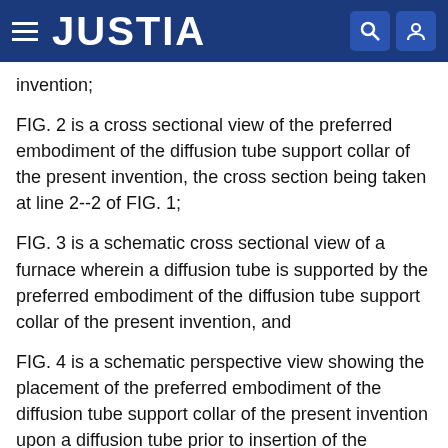JUSTIA
invention;
FIG. 2 is a cross sectional view of the preferred embodiment of the diffusion tube support collar of the present invention, the cross section being taken at line 2--2 of FIG. 1;
FIG. 3 is a schematic cross sectional view of a furnace wherein a diffusion tube is supported by the preferred embodiment of the diffusion tube support collar of the present invention, and
FIG. 4 is a schematic perspective view showing the placement of the preferred embodiment of the diffusion tube support collar of the present invention upon a diffusion tube prior to insertion of the diffusion tube into a furnace.